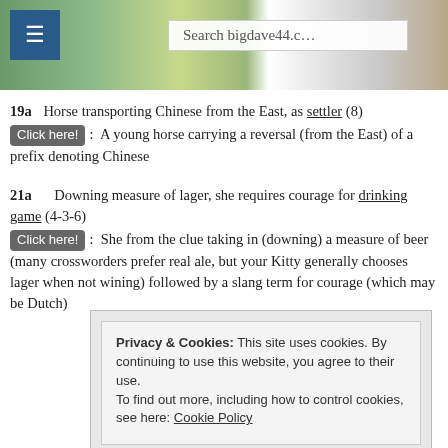[Figure (screenshot): Website header with countryside photo, hamburger menu button, and search bar showing 'Search bigdave44.c']
19a   Horse transporting Chinese from the East, as settler (8)
Click here!:  A young horse carrying a reversal (from the East) of a prefix denoting Chinese
21a   Downing measure of lager, she requires courage for drinking game (4-3-6)
Click here!:  She from the clue taking in (downing) a measure of beer (many crossworders prefer real ale, but your Kitty generally chooses lager when not wining) followed by a slang term for courage (which may be Dutch)
Privacy & Cookies: This site uses cookies. By continuing to use this website, you agree to their use.
To find out more, including how to control cookies, see here: Cookie Policy
Close and accept
[Figure (illustration): Cartoon cats illustration at bottom of page]